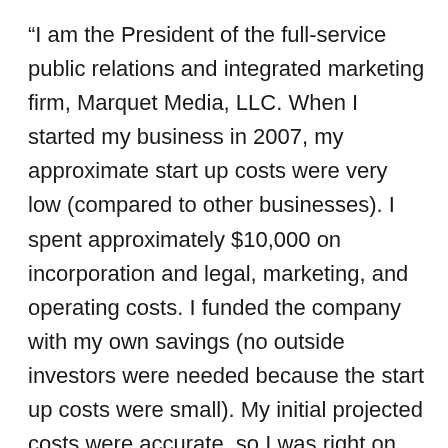“I am the President of the full-service public relations and integrated marketing firm, Marquet Media, LLC. When I started my business in 2007, my approximate start up costs were very low (compared to other businesses). I spent approximately $10,000 on incorporation and legal, marketing, and operating costs. I funded the company with my own savings (no outside investors were needed because the start up costs were small). My initial projected costs were accurate, so I was right on track. Overall, I am happy that I did not take private investors or finance my company with credit cards or credit line, because all of the revenue that we generate pays any overhead expenses, salaries, etc. In fact, we are a debt-free company, which makes my job